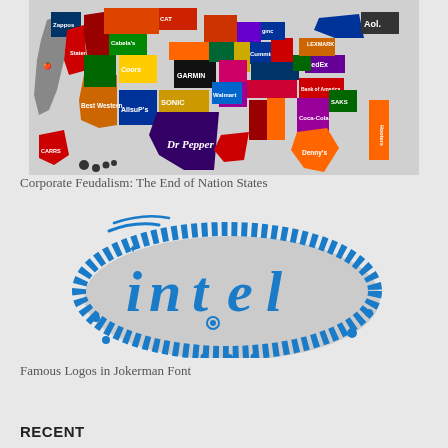[Figure (infographic): Map of the United States with each state filled with a different corporate brand logo (e.g. Apple, Zappos, Coors, Garmin, Best Western, Allsup's, Sonic, Dr Pepper, Walmart, FedEx, Lexmark, Aol., Cummins, Denny's, Cabela's, CAT, Bank of America, Coca-Cola, Saks, Carrs, etc.)]
Corporate Feudalism: The End of Nation States
[Figure (logo): Intel logo recreated in Jokerman font style — blue decorative lettering spelling 'intel' inside a blue oval ring, with star-burst and gear-tooth ornamental details]
Famous Logos in Jokerman Font
RECENT